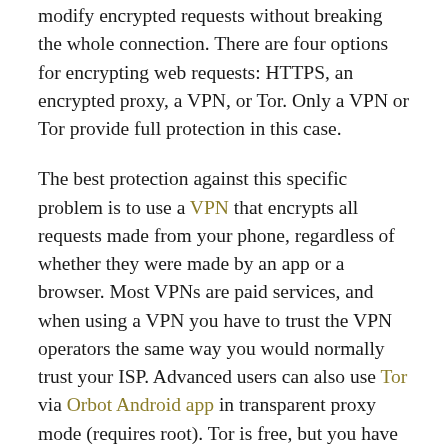modify encrypted requests without breaking the whole connection. There are four options for encrypting web requests: HTTPS, an encrypted proxy, a VPN, or Tor. Only a VPN or Tor provide full protection in this case.
The best protection against this specific problem is to use a VPN that encrypts all requests made from your phone, regardless of whether they were made by an app or a browser. Most VPNs are paid services, and when using a VPN you have to trust the VPN operators the same way you would normally trust your ISP. Advanced users can also use Tor via Orbot Android app in transparent proxy mode (requires root). Tor is free, but you have to trust exit node operators not to interfere with your connection. Tor is more appropriate if you are trying to be anonymous.